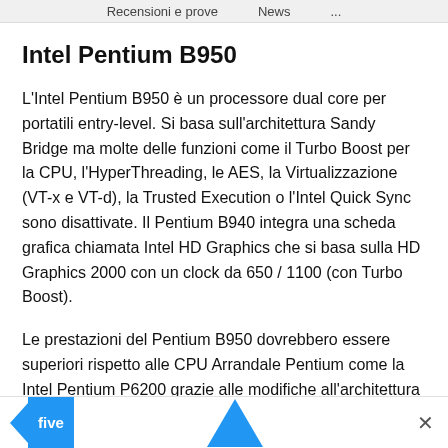Recensioni e prove   News   ...
Intel Pentium B950
L'Intel Pentium B950 è un processore dual core per portatili entry-level. Si basa sull'architettura Sandy Bridge ma molte delle funzioni come il Turbo Boost per la CPU, l'HyperThreading, le AES, la Virtualizzazione (VT-x e VT-d), la Trusted Execution o l'Intel Quick Sync sono disattivate. Il Pentium B940 integra una scheda grafica chiamata Intel HD Graphics che si basa sulla HD Graphics 2000 con un clock da 650 / 1100 (con Turbo Boost).
Le prestazioni del Pentium B950 dovrebbero essere superiori rispetto alle CPU Arrandale Pentium come la Intel Pentium P6200 grazie alle modifiche all'architettura